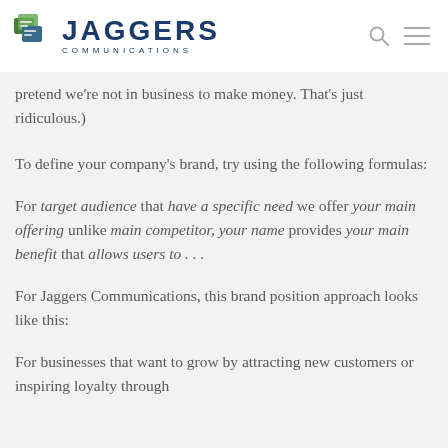[Figure (logo): Jaggers Communications logo with green/blue speech bubble icon and company name in navy blue]
pretend we're not in business to make money. That's just ridiculous.)
To define your company's brand, try using the following formulas:
For target audience that have a specific need we offer your main offering unlike main competitor, your name provides your main benefit that allows users to . . .
For Jaggers Communications, this brand position approach looks like this:
For businesses that want to grow by attracting new customers or inspiring loyalty through